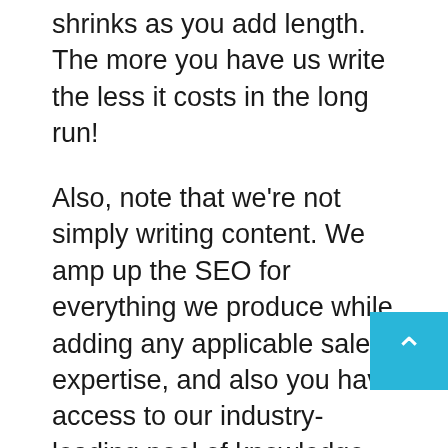shrinks as you add length. The more you have us write the less it costs in the long run!
Also, note that we're not simply writing content. We amp up the SEO for everything we produce while adding any applicable sales expertise, and also you have access to our industry-leading pool of knowledge which you can endlessly flip through as you'd see fit due to our wonderful a.i Panel Brain! All at no extra cost to you!
Through our competitors, however, it's hard to say… We haven't heard of many who have experts such as ours, nor any who provide a fraction of the service we do for the cost of our services.